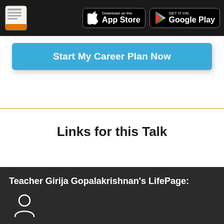LifePage App Store Google Play
Start My Career Plan Now
Links for this Talk
Teacher Girija Gopalakrishnan's LifePage: